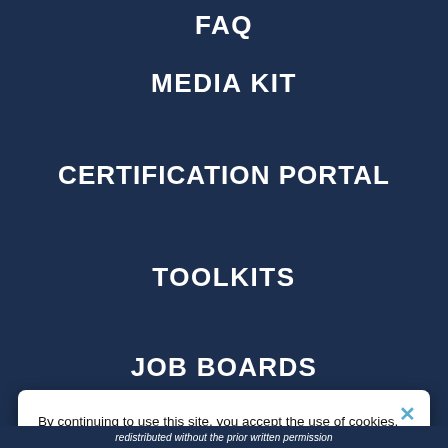FAQ
MEDIA KIT
CERTIFICATION PORTAL
TOOLKITS
JOB BOARDS
By continuing to use this site, you accept the use of cookies, pixels and other technology that allows us to understand our users better and offer you tailored content. You can learn more about our privacy policy here
redistributed without the prior written permission